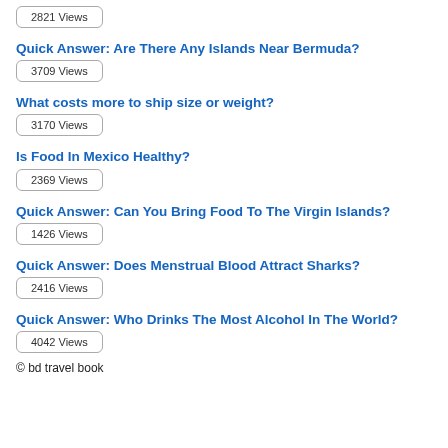2821 Views
Quick Answer: Are There Any Islands Near Bermuda?
3709 Views
What costs more to ship size or weight?
3170 Views
Is Food In Mexico Healthy?
2369 Views
Quick Answer: Can You Bring Food To The Virgin Islands?
1426 Views
Quick Answer: Does Menstrual Blood Attract Sharks?
2416 Views
Quick Answer: Who Drinks The Most Alcohol In The World?
4042 Views
© bd travel book